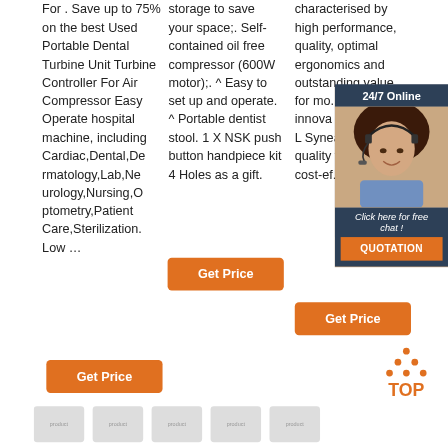For . Save up to 75% on the best Used Portable Dental Turbine Unit Turbine Controller For Air Compressor Easy Operate hospital machine, including Cardiac,Dental,Dermatology,Lab,Neurology,Nursing,Optometry,Patient Care,Sterilization. Low …
storage to save your space;. Self-contained oil free compressor (600W motor);. ^ Easy to set up and operate. ^ Portable dentist stool. 1 X NSK push button handpiece kit 4 Holes as a gift.
characterised by high performance, quality, optimal ergonomics and outstanding value for mo... Vision innova sterilizi Ring L Synea promis quality with un cost-ef...
[Figure (photo): Customer service representative wearing a headset, smiling, within a dark blue overlay with '24/7 Online' header and 'Click here for free chat!' text, and QUOTATION button]
24/7 Online
Click here for free chat !
QUOTATION
Get Price
Get Price
Get Price
[Figure (illustration): TOP icon with orange dots arranged in a triangle pattern above the word TOP in orange text]
[Figure (photo): Bottom row of dental handpiece product images]